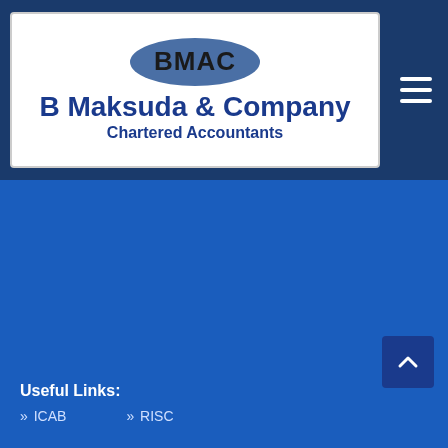[Figure (logo): BMAC oval logo with dark blue background and white hamburger menu icon in top-right corner. Below the oval, white card with company name 'B Maksuda & Company' and subtitle 'Chartered Accountants' in dark blue text.]
Useful Links:
» ICAB
» RISC